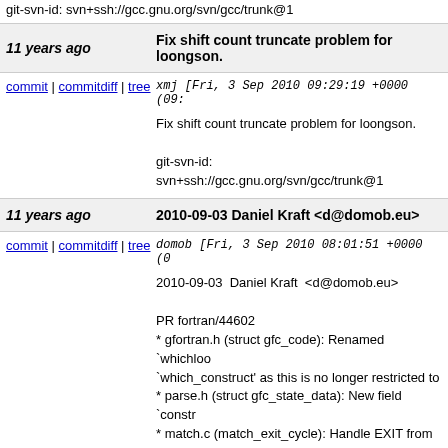git-svn-id: svn+ssh://gcc.gnu.org/svn/gcc/trunk@1
11 years ago
Fix shift count truncate problem for loongson.
commit | commitdiff | tree
xmj [Fri, 3 Sep 2010 09:29:19 +0000 (09:
Fix shift count truncate problem for loongson.

git-svn-id: svn+ssh://gcc.gnu.org/svn/gcc/trunk@1
11 years ago
2010-09-03 Daniel Kraft <d@domob.eu>
commit | commitdiff | tree
domob [Fri, 3 Sep 2010 08:01:51 +0000 (0
2010-09-03  Daniel Kraft  <d@domob.eu>

PR fortran/44602
* gfortran.h (struct gfc_code): Renamed `whichloo
`which_construct' as this is no longer restricted to
* parse.h (struct gfc_state_data): New field `constr
* match.c (match_exit_cycle): Handle EXIT from n
* parse.c (push_state): Set `construct' field.
* resolve.c (resolve_select_type): Extend commen
* trans-stmt.c (gfc_trans_if): Add exit label.
(gfc_trans_block_construct), (gfc_trans_select): D
(gfc_trans_simple_do): Store exit/cycle labels on t
(gfc_trans_do), (gfc_trans_do_while): Ditto.
(gfc_trans_exit): Use new name `which_construct'
(gfc_trans_cycle): Ditto.